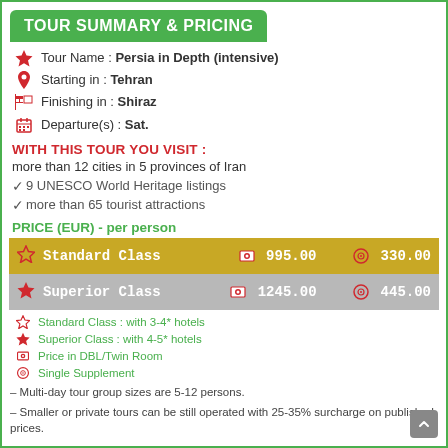TOUR SUMMARY & PRICING
Tour Name : Persia in Depth (intensive)
Starting in : Tehran
Finishing in : Shiraz
Departure(s) : Sat.
WITH THIS TOUR YOU VISIT :
more than 12 cities in 5 provinces of Iran
9 UNESCO World Heritage listings
more than 65 tourist attractions
PRICE (EUR) - per person
| Class | Price | Single Supplement |
| --- | --- | --- |
| Standard Class | 995.00 | 330.00 |
| Superior Class | 1245.00 | 445.00 |
Standard Class : with 3-4* hotels
Superior Class : with 4-5* hotels
Price in DBL/Twin Room
Single Supplement
– Multi-day tour group sizes are 5-12 persons.
– Smaller or private tours can be still operated with 25-35% surcharge on published prices.